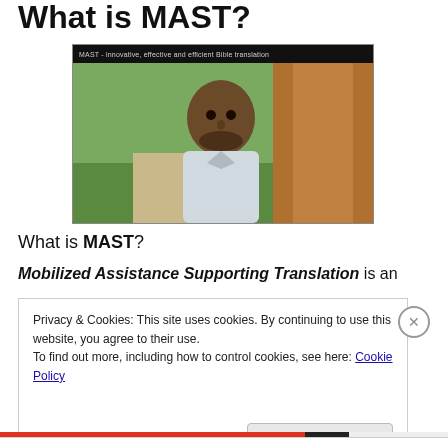What is MAST?
[Figure (screenshot): Video thumbnail showing a man speaking outdoors near a tree, with a dark title bar reading 'MAST - innovative, effective and efficient Bible translation']
What is MAST?
Mobilized Assistance Supporting Translation is an
Privacy & Cookies: This site uses cookies. By continuing to use this website, you agree to their use.
To find out more, including how to control cookies, see here: Cookie Policy
Close and accept